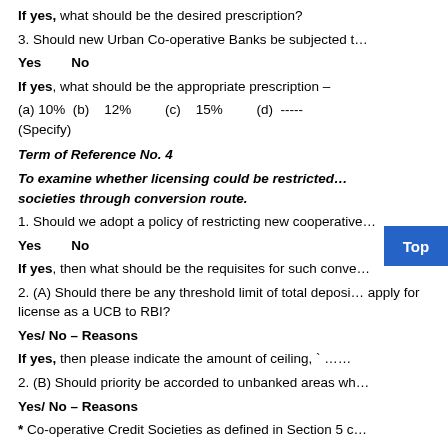If yes, what should be the desired prescription?
3. Should new Urban Co-operative Banks be subjected t...
Yes        No
If yes, what should be the appropriate prescription –
(a) 10%  (b)    12%          (c)    15%          (d)  -----  (Specify)
Term of Reference No. 4
To examine whether licensing could be restricted... societies through conversion route.
1. Should we adopt a policy of restricting new co-operative...
Yes        No
If yes, then what should be the requisites for such conve...
2. (A) Should there be any threshold limit of total deposi... apply for license as a UCB to RBI?
Yes/ No – Reasons
If yes, then please indicate the amount of ceiling, ` ……
2. (B) Should priority be accorded to unbanked areas wh...
Yes/ No – Reasons
* Co-operative Credit Societies as defined in Section 5 c...
Term of Reference No. 5